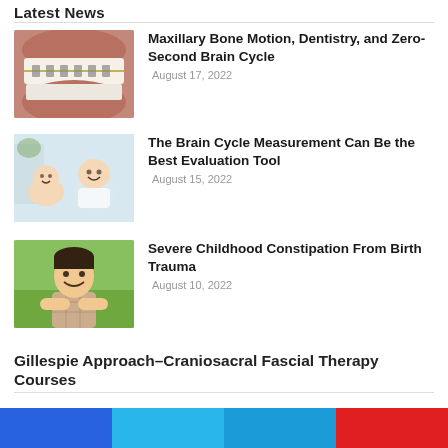Latest News
[Figure (photo): Close-up photo of teeth with braces]
Maxillary Bone Motion, Dentistry, and Zero-Second Brain Cycle
August 17, 2022
[Figure (photo): Two smiling babies lying on a surface]
The Brain Cycle Measurement Can Be the Best Evaluation Tool
August 15, 2022
[Figure (photo): Young boy with arms crossed smiling outdoors]
Severe Childhood Constipation From Birth Trauma
August 10, 2022
Gillespie Approach–Craniosacral Fascial Therapy Courses